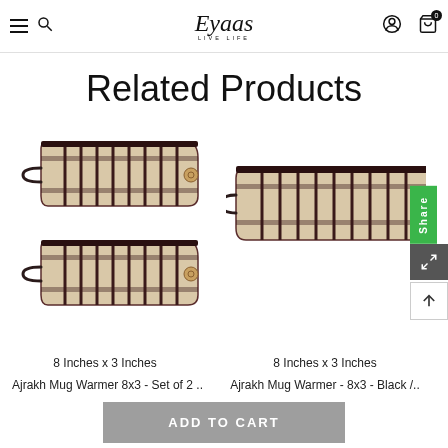Eyaas Live Life - navigation header
Related Products
[Figure (photo): Two Ajrakh Mug Warmer 8x3 Set of 2 products shown stacked vertically - striped beige and dark brown fabric warmers with loop and button closure]
8 Inches x 3 Inches
Ajrakh Mug Warmer 8x3 - Set of 2 ..
[Figure (photo): Ajrakh Mug Warmer 8x3 Black product - partially visible on right side]
8 Inches x 3 Inches
Ajrakh Mug Warmer - 8x3 - Black /..
ADD TO CART